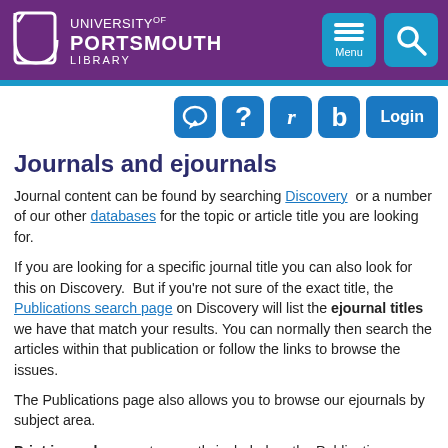University of Portsmouth Library — Menu / Search header
Journals and ejournals
Journal content can be found by searching Discovery or a number of our other databases for the topic or article title you are looking for.
If you are looking for a specific journal title you can also look for this on Discovery. But if you're not sure of the exact title, the Publications search page on Discovery will list the ejournal titles we have that match your results. You can normally then search the articles within that publication or follow the links to browse the issues.
The Publications page also allows you to browse our ejournals by subject area.
Print journals are not currently included on the Publications page, so you will need to check the Library Catalogue or Discovery to